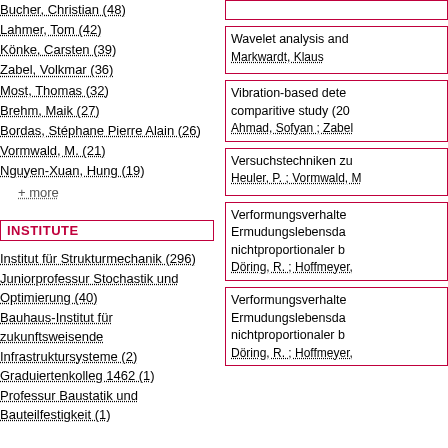Bucher, Christian (48)
Lahmer, Tom (42)
Könke, Carsten (39)
Zabel, Volkmar (36)
Most, Thomas (32)
Brehm, Maik (27)
Bordas, Stéphane Pierre Alain (26)
Vormwald, M. (21)
Nguyen-Xuan, Hung (19)
+ more
INSTITUTE
Institut für Strukturmechanik (296)
Juniorprofessur Stochastik und Optimierung (40)
Bauhaus-Institut für zukunftsweisende Infrastruktursysteme (2)
Graduiertenkolleg 1462 (1)
Professur Baustatik und Bauteilfestigkeit (1)
Wavelet analysis and Markwardt, Klaus
Vibration-based dete comparitive study (20 Ahmad, Sofyan ; Zabel
Versuchstechniken zu Heuler, P. ; Vormwald, M
Verformungsverhalte Ermudungslebensda nichtproportionaler b Döring, R. ; Hoffmeyer,
Verformungsverhalte Ermudungslebensda nichtproportionaler b Döring, R. ; Hoffmeyer,